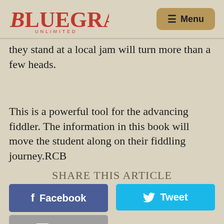Bluegrass Unlimited — Menu
they stand at a local jam will turn more than a few heads.
This is a powerful tool for the advancing fiddler. The information in this book will move the student along on their fiddling journey.RCB
SHARE THIS ARTICLE
Facebook
Tweet
Email